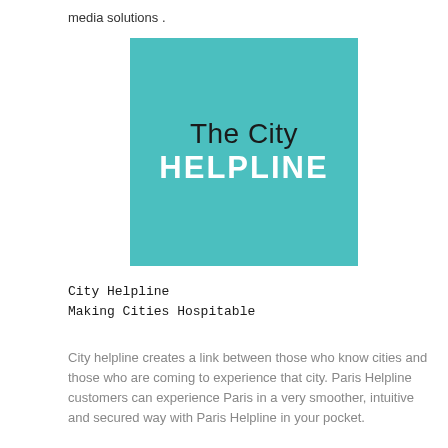media solutions .
[Figure (logo): The City HELPLINE logo — teal/turquoise square background with 'The City' in dark text and 'HELPLINE' in white bold text below]
City Helpline
Making Cities Hospitable
City helpline creates a link between those who know cities and those who are coming to experience that city. Paris Helpline customers can experience Paris in a very smoother, intuitive and secured way with Paris Helpline in your pocket.